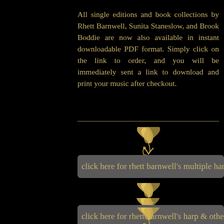All single editions and book collections by Rhett Barnwell, Sunita Staneslow, and Brook Boddie are now also available in instant downloadable PDF format. Simply click on the link to order, and you will be immediately sent a link to download and print your music after checkout.
[Figure (illustration): Decorative golden feather/scroll ornament]
click here for rhett barnwell's multiple harps
[Figure (illustration): Decorative golden feather/scroll ornament]
[Figure (illustration): Decorative golden feather/scroll ornament]
click here for rhett barnwell's harp & other inst
[Figure (illustration): Decorative golden feather/scroll ornament]